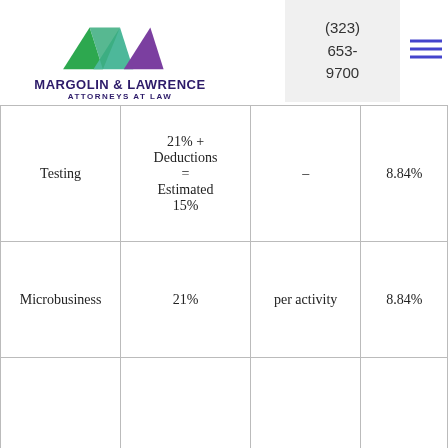MARGOLIN & LAWRENCE ATTORNEYS AT LAW — (323) 653-9700
|  |  |  |  |
| --- | --- | --- | --- |
| Testing | 21% + Deductions = Estimated 15% | – | 8.84% |
| Microbusiness | 21% | per activity | 8.84% |
|  |  |  |  |
|  |  |  |  |
| *(flower – different tax rates for stems and fresh plants; clones are not taxed by state) |  |  |  |